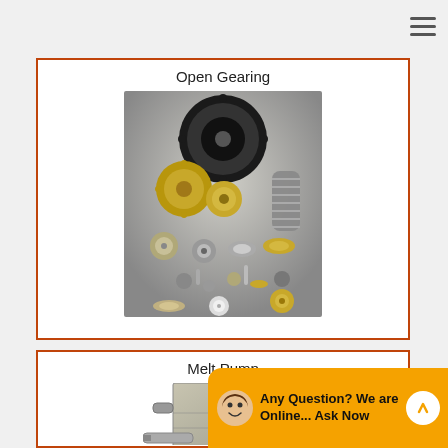Open Gearing
[Figure (photo): Assorted open gearing components: spur gears, bevel gears, worm gears, pinion gears in various sizes and materials including brass and steel, displayed on a white background.]
Melt Pump
[Figure (photo): Melt pump mechanical component, a compact rectangular metal block with ports and a protruding shaft, shown in partial view.]
Any Question? We are Online... Ask Now